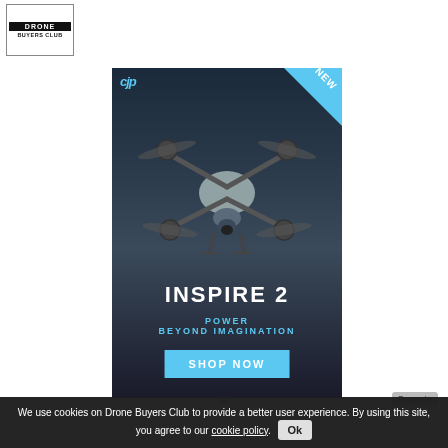[Figure (logo): Drone Buyers Club logo — black banner with white text 'DRONE BUYERS CLUB' in a bordered box]
[Figure (photo): DJI Inspire 2 drone advertisement. Dark moody background with drone photo, DJI logo top-left, NEW ribbon top-right, text 'INSPIRE 2 / POWER / BEYOND IMAGINATION', and a 'SHOP NOW' blue button.]
We use cookies on Drone Buyers Club to provide a better user experience. By using this site, you agree to our cookie policy. Ok